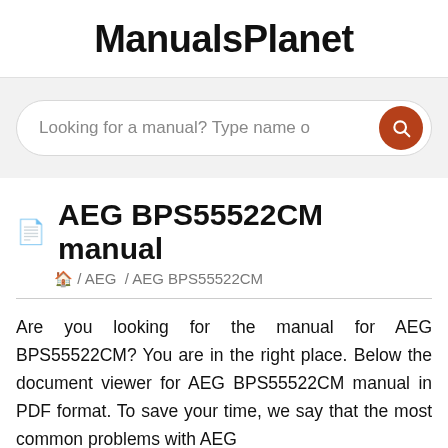ManualsPlanet
Looking for a manual? Type name o
AEG BPS55522CM manual
🏠 / AEG / AEG BPS55522CM
Are you looking for the manual for AEG BPS55522CM? You are in the right place. Below the document viewer for AEG BPS55522CM manual in PDF format. To save your time, we say that the most common problems with AEG